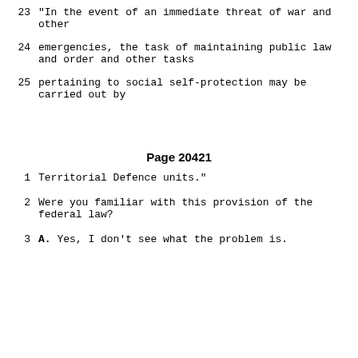23    "In the event of an immediate threat of war and other
24    emergencies, the task of maintaining public law and order and other tasks
25    pertaining to social self-protection may be carried out by
Page 20421
1    Territorial Defence units."
2    Were you familiar with this provision of the federal law?
3    A.  Yes, I don't see what the problem is.